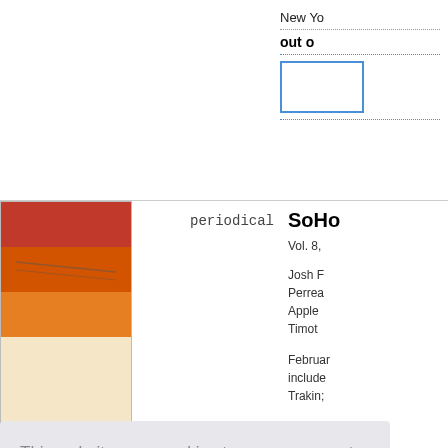New Yo
out o
periodical
SoHo
Vol. 8,
Josh F
Perrea
Apple
Timot
Februar
include
Trakin;
This website uses cookies to ensure you get the best experience on our website.
Learn more
Got it!